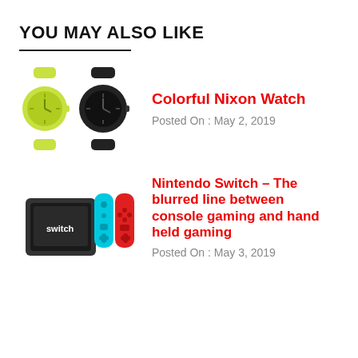YOU MAY ALSO LIKE
[Figure (illustration): Two colorful Nixon watches — one lime green, one black — side by side]
Colorful Nixon Watch
Posted On : May 2, 2019
[Figure (photo): Nintendo Switch console in dock with two Joy-Con controllers (blue and red)]
Nintendo Switch – The blurred line between console gaming and hand held gaming
Posted On : May 3, 2019